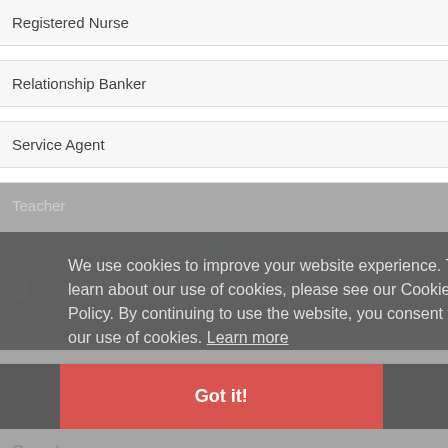Registered Nurse
Relationship Banker
Service Agent
Teacher
Show All
We use cookies to improve your website experience. To learn about our use of cookies, please see our Cookie Policy. By continuing to use the website, you consent to our use of cookies. Learn more
Got it!
Country
Canada